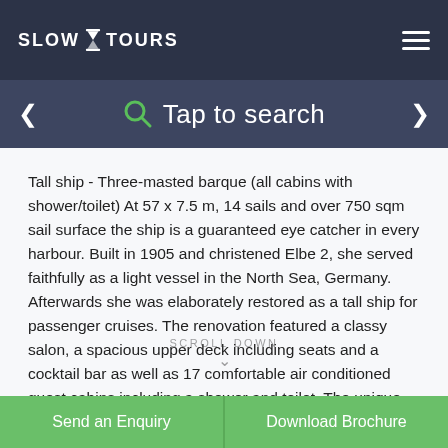SLOW TOURS
Tap to search
Tall ship - Three-masted barque (all cabins with shower/toilet) At 57 x 7.5 m, 14 sails and over 750 sqm sail surface the ship is a guaranteed eye catcher in every harbour. Built in 1905 and christened Elbe 2, she served faithfully as a light vessel in the North Sea, Germany. Afterwards she was elaborately restored as a tall ship for passenger cruises. The renovation featured a classy salon, a spacious upper deck including seats and a cocktail bar as well as 17 comfortable air conditioned guest cabins including a shower and toilet. The unique charm is due to the loving care of the inventory and to a helpful and greatly experienced crew...
Send an Enquiry
Download Brochure